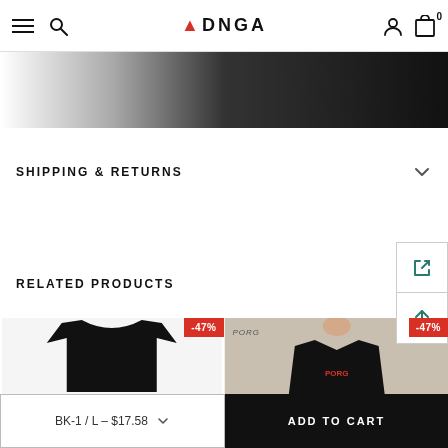AONGA — navigation bar with hamburger menu, search icon, logo, user icon, cart (0)
[Figure (photo): Close-up product photo strip showing dark fabric texture fading from white on left to near-black on right]
SHIPPING & RETURNS
RELATED PRODUCTS
[Figure (photo): Black long-sleeve t-shirt on white background, -47% discount badge]
[Figure (photo): Person wearing black graphic t-shirt, PORG label, -47% discount badge]
BK-1 / L – $17.58
ADD TO CART